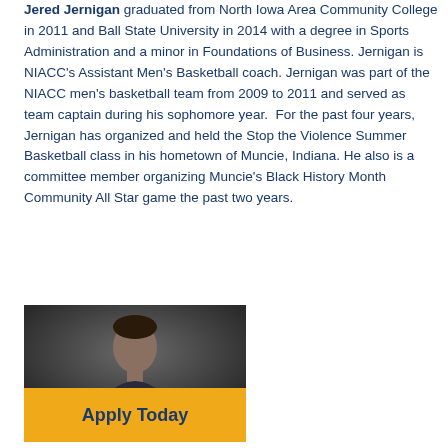Jered Jernigan graduated from North Iowa Area Community College in 2011 and Ball State University in 2014 with a degree in Sports Administration and a minor in Foundations of Business. Jernigan is NIACC's Assistant Men's Basketball coach. Jernigan was part of the NIACC men's basketball team from 2009 to 2011 and served as team captain during his sophomore year. For the past four years, Jernigan has organized and held the Stop the Violence Summer Basketball class in his hometown of Muncie, Indiana. He also is a committee member organizing Muncie's Black History Month Community All Star game the past two years.
[Figure (photo): Headshot photo of Jered Jernigan against a dark background]
Apply Today